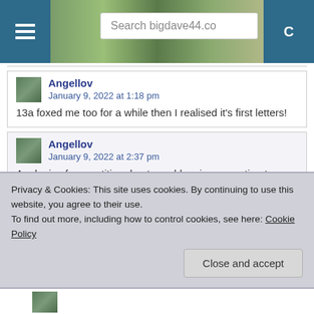Search bigdave44.co
Angellov
January 9, 2022 at 1:18 pm
13a foxed me too for a while then I realised it’s first letters!
Angellov
January 9, 2022 at 2:37 pm
Apologies for repetition due to problem in connecting to
Privacy & Cookies: This site uses cookies. By continuing to use this website, you agree to their use.
To find out more, including how to control cookies, see here: Cookie Policy
Close and accept